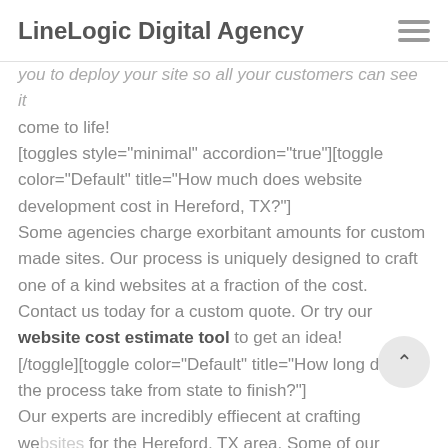LineLineLogic Digital Agency
you to deploy your site so all your customers can see it come to life! [toggles style="minimal" accordion="true"][toggle color="Default" title="How much does website development cost in Hereford, TX?"] Some agencies charge exorbitant amounts for custom made sites. Our process is uniquely designed to craft one of a kind websites at a fraction of the cost. Contact us today for a custom quote. Or try our website cost estimate tool to get an idea! [/toggle][toggle color="Default" title="How long does the process take from state to finish?"] Our experts are incredibly effiecent at crafting websites for the Hereford, TX area. Some of our projects are able